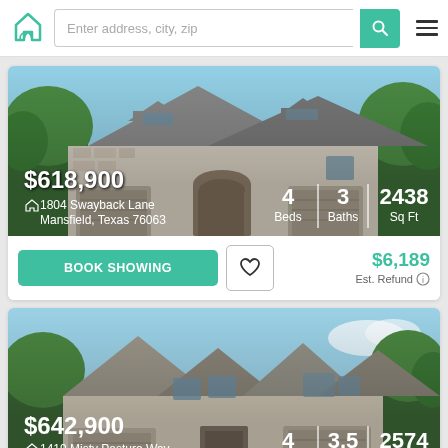Enter address, city, zip
[Figure (photo): Two-story stone and brick home with arched garage door and dormer windows, blue sky, trees]
$618,900 | 4 Beds | 3 Baths | 2438 Sq Ft
1804 Swayback Lane, Mansfield, Texas 76063
BOOK SHOWING | $6,189 Est. Refund
[Figure (photo): Two-story stone home with multiple gabled rooflines, blue sky and trees in background]
$642,900 | 4 Beds | 3.5 Baths | 2574 Sq Ft
1419 Misty Pasture Way, Mansfield, Texas 76063